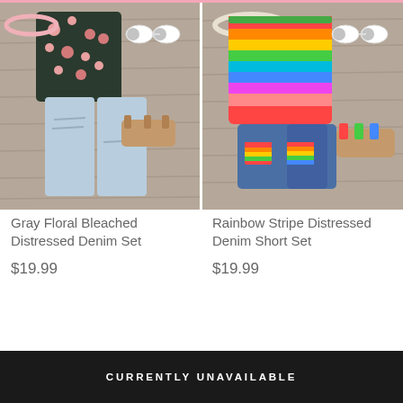[Figure (photo): Flat lay of gray floral top with bleached distressed denim jeans, sandals, and pink floral necklace with white sunglasses on gray wood background]
[Figure (photo): Flat lay of rainbow striped top with distressed denim shorts, colorful sandals, and pearl necklace with white sunglasses on gray wood background]
Gray Floral Bleached Distressed Denim Set
$19.99
Rainbow Stripe Distressed Denim Short Set
$19.99
CURRENTLY UNAVAILABLE